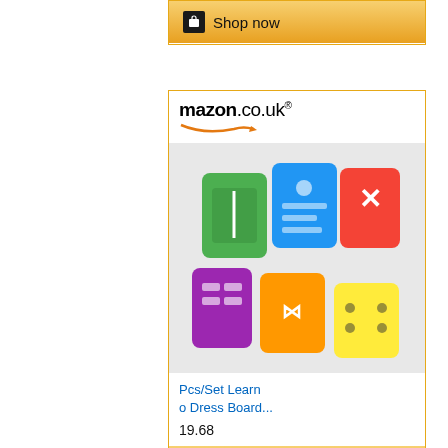[Figure (screenshot): Partial Amazon.co.uk advertisement card showing a 'Shop now' button with cart icon, golden gradient background]
[Figure (screenshot): Amazon.co.uk advertisement card showing colourful learning/dress boards set. Product title: 'Pcs/Set Learn o Dress Board...' Price: 19.68 with Shop now button]
[Figure (screenshot): Amazon.co.uk advertisement card showing wooden geometric shapes/blocks set]